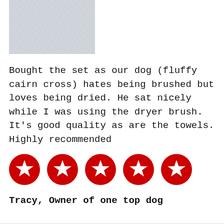[Figure (photo): Partial photo of a light grey fluffy texture, likely a dog towel or fur, cropped at the top of the page]
Bought the set as our dog (fluffy cairn cross) hates being brushed but loves being dried. He sat nicely while I was using the dryer brush. It’s good quality as are the towels. Highly recommended
[Figure (other): Five red circular star rating icons indicating a 5-star review]
Tracy, Owner of one top dog